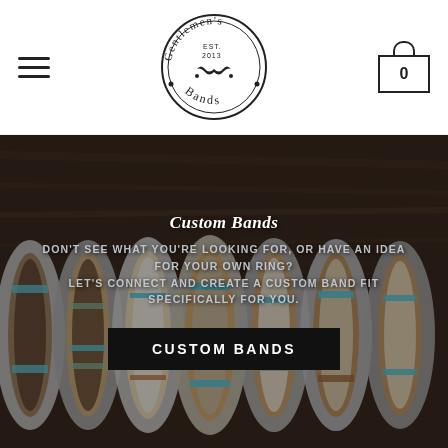Gentlemen's Bands navigation bar with hamburger menu, logo, and cart icon showing 0
[Figure (photo): Close-up photo of multiple stacked custom wedding bands/rings showing wood, antler, turquoise inlays on a dark wooden background]
Custom Bands
DON'T SEE WHAT YOU'RE LOOKING FOR, OR HAVE AN IDEA FOR YOUR OWN RING? LET'S CONNECT AND CREATE A CUSTOM BAND FIT SPECIFICALLY FOR YOU.
CUSTOM BANDS